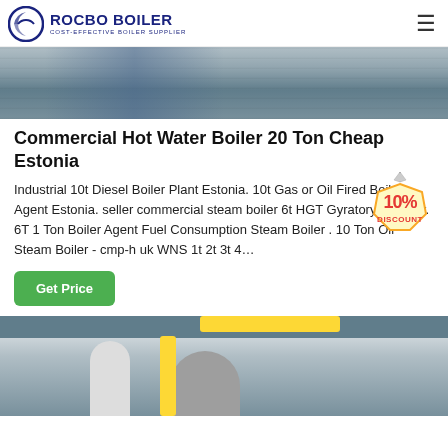ROCBO BOILER - COST-EFFECTIVE BOILER SUPPLIER
[Figure (photo): Industrial factory interior showing machinery and equipment with blue tones]
Commercial Hot Water Boiler 20 Ton Cheap Estonia
Industrial 10t Diesel Boiler Plant Estonia. 10t Gas or Oil Fired Boiler Agent Estonia. seller commercial steam boiler 6t HGT Gyratory Crusher. 6T 1 Ton Boiler Agent Fuel Consumption Steam Boiler . 10 Ton Oil Steam Boiler - cmp-h uk WNS 1t 2t 3t 4...
[Figure (illustration): 10% DISCOUNT badge/sticker in red and yellow]
[Figure (photo): Industrial boiler equipment with yellow pipes and cylindrical tanks in a warehouse setting]